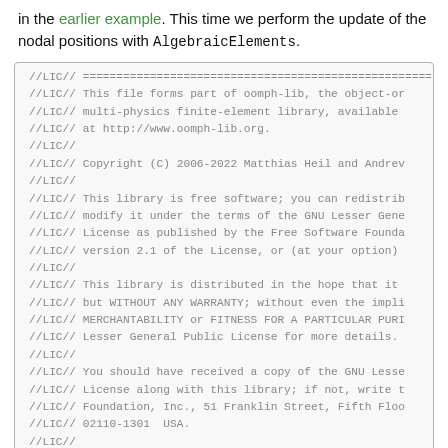in the earlier example. This time we perform the update of the nodal positions with AlgebraicElements.
[Figure (screenshot): A code block showing the license header of an oomph-lib C++ source file, with lines prefixed by //LIC// containing copyright and GNU Lesser General Public License information.]